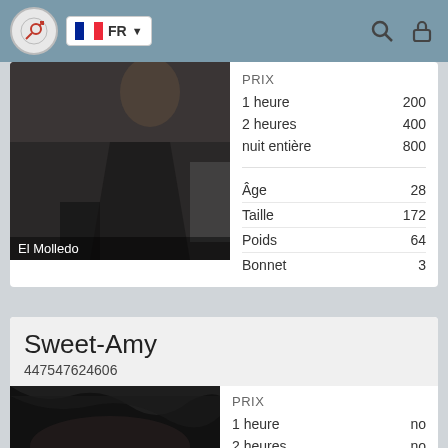FR
|  |  |
| --- | --- |
| PRIX |  |
| 1 heure | 200 |
| 2 heures | 400 |
| nuit entière | 800 |
| Âge | 28 |
| Taille | 172 |
| Poids | 64 |
| Bonnet | 3 |
[Figure (photo): Fashion/model photo, person in dark clothing]
El Molledo
Sweet-Amy
447547624606
[Figure (photo): Close-up dark hair photo]
|  |  |
| --- | --- |
| PRIX |  |
| 1 heure | no |
| 2 heures | no |
| nuit entière | no |